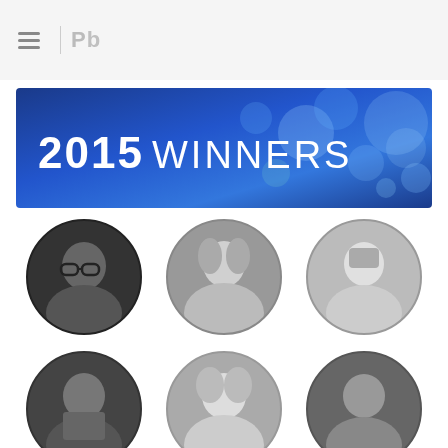≡ Pb
[Figure (illustration): Blue bokeh banner with text '2015 WINNERS' in white]
[Figure (photo): 3x3 grid of circular black-and-white portrait photos of 2015 award winners (9 visible, partially cut off at bottom)]